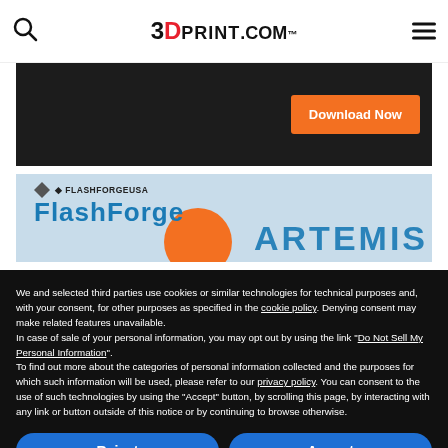3DPrint.com
[Figure (screenshot): Dark advertisement banner with an orange 'Download Now' button on the right side]
[Figure (screenshot): FlashForge USA advertisement banner showing FlashForge logo and product name 'ARTEMIS' in blue text with an orange circle]
We and selected third parties use cookies or similar technologies for technical purposes and, with your consent, for other purposes as specified in the cookie policy. Denying consent may make related features unavailable.
In case of sale of your personal information, you may opt out by using the link "Do Not Sell My Personal Information".
To find out more about the categories of personal information collected and the purposes for which such information will be used, please refer to our privacy policy. You can consent to the use of such technologies by using the "Accept" button, by scrolling this page, by interacting with any link or button outside of this notice or by continuing to browse otherwise.
Reject
Accept
Learn more and customize